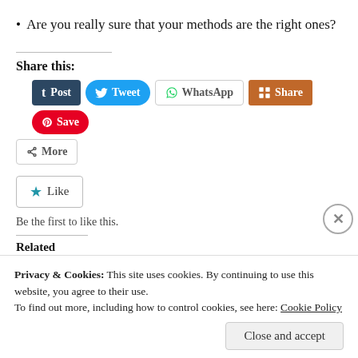Are you really sure that your methods are the right ones?
Share this:
[Figure (infographic): Social share buttons: Post (Tumblr), Tweet (Twitter), WhatsApp, Share (LinkedIn), Save (Pinterest), More]
[Figure (infographic): Like button with star icon]
Be the first to like this.
Related
The Convention 1: Why this,
The Convention 14: The right
Privacy & Cookies: This site uses cookies. By continuing to use this website, you agree to their use.
To find out more, including how to control cookies, see here: Cookie Policy
Close and accept